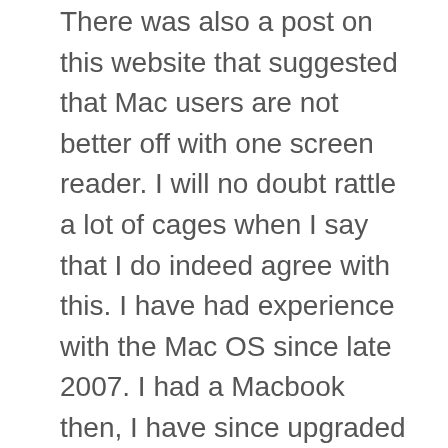There was also a post on this website that suggested that Mac users are not better off with one screen reader. I will no doubt rattle a lot of cages when I say that I do indeed agree with this. I have had experience with the Mac OS since late 2007. I had a Macbook then, I have since upgraded to an iMac last year. I remember in the early days of Voice Over, bugs got fixed faster, Voiceover itself was more stable and responsive, and it was generally very pleasant. It seems with recent versions of the OS, Voiceover has become something of an adventure. I